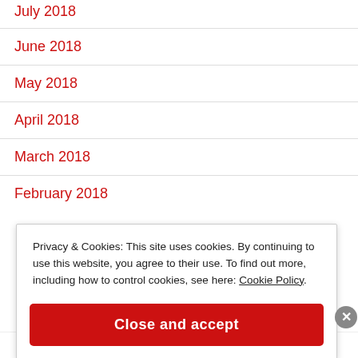July 2018
June 2018
May 2018
April 2018
March 2018
February 2018
Privacy & Cookies: This site uses cookies. By continuing to use this website, you agree to their use. To find out more, including how to control cookies, see here: Cookie Policy
Close and accept
in less than a week